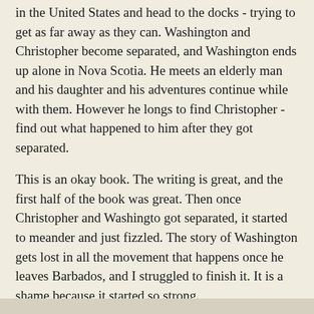in the United States and head to the docks - trying to get as far away as they can. Washington and Christopher become separated, and Washington ends up alone in Nova Scotia. He meets an elderly man and his daughter and his adventures continue while with them. However he longs to find Christopher - find out what happened to him after they got separated.
This is an okay book. The writing is great, and the first half of the book was great. Then once Christopher and Washingto got separated, it started to meander and just fizzled. The story of Washington gets lost in all the movement that happens once he leaves Barbados, and I struggled to finish it. It is a shame because it started so strong.
Stars: 3